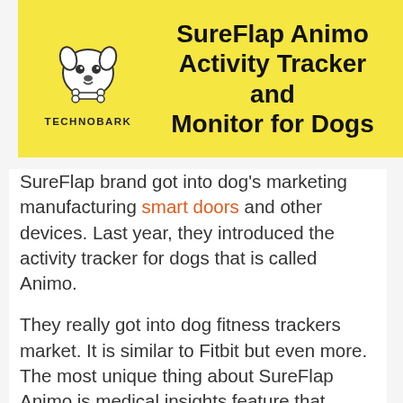[Figure (logo): Technobark logo on yellow background with dog mascot and text: SureFlap Animo Activity Tracker and Monitor for Dogs]
SureFlap brand got into dog's marketing manufacturing smart doors and other devices. Last year, they introduced the activity tracker for dogs that is called Animo.
They really got into dog fitness trackers market. It is similar to Fitbit but even more. The most unique thing about SureFlap Animo is medical insights feature that allows you to see how your